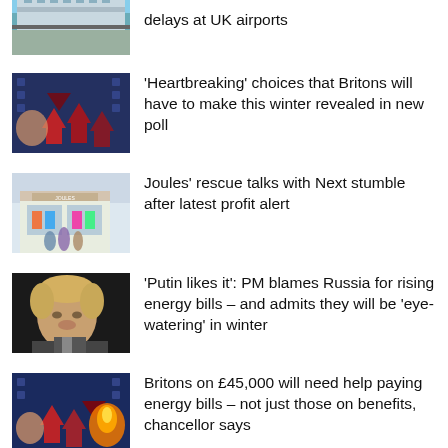[Figure (photo): Airport terminal with planes visible through glass]
delays at UK airports
[Figure (photo): Energy cost inflation concept image with red arrows on blue background]
'Heartbreaking' choices that Britons will have to make this winter revealed in new poll
[Figure (photo): Joules retail store exterior with shoppers]
Joules' rescue talks with Next stumble after latest profit alert
[Figure (photo): Boris Johnson portrait photo]
'Putin likes it': PM blames Russia for rising energy bills – and admits they will be 'eye-watering' in winter
[Figure (photo): Energy cost inflation concept image with arrows and flame]
Britons on £45,000 will need help paying energy bills – not just those on benefits, chancellor says
[Figure (photo): Partially visible photo at bottom of page]
Spiralling energy bill burden will send UK into